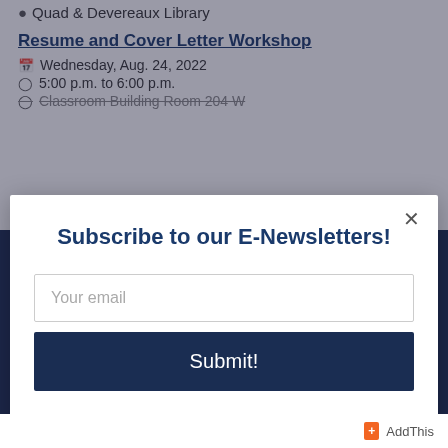Quad & Devereaux Library
Resume and Cover Letter Workshop
Wednesday, Aug. 24, 2022
5:00 p.m. to 6:00 p.m.
Classroom Building Room 204 W
Subscribe to our E-Newsletters!
Your email
Submit!
+ AddThis